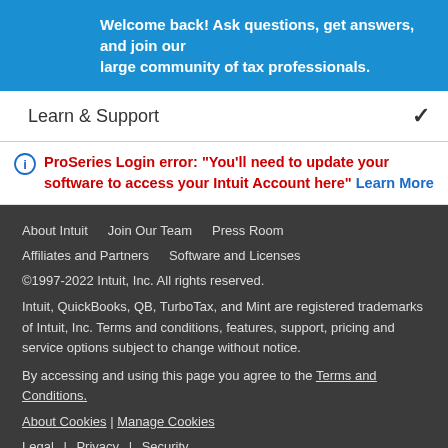Welcome back! Ask questions, get answers, and join our large community of tax professionals.
Learn & Support
ProSeries Login error: "You’ll need to update your software to access your Intuit Account here" Learn More
About Intuit   Join Our Team   Press Room
Affiliates and Partners   Software and Licenses
©1997-2022 Intuit, Inc. All rights reserved.

Intuit, QuickBooks, QB, TurboTax, and Mint are registered trademarks of Intuit, Inc. Terms and conditions, features, support, pricing and service options subject to change without notice.

By accessing and using this page you agree to the Terms and Conditions.

About Cookies | Manage Cookies

Legal | Privacy | Security